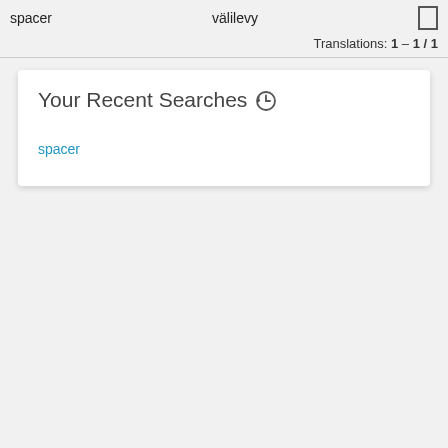spacer   välilevy
Translations: 1 – 1 / 1
Your Recent Searches
spacer